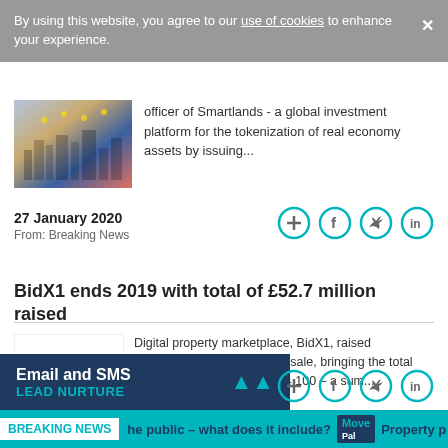By using this website, you agree to our use of cookies to enhance your experience.
officer of Smartlands - a global investment platform for the tokenization of real economy assets by issuing...
27 January 2020
From: Breaking News
BidX1 ends 2019 with total of £52.7 million raised
Digital property marketplace, BidX1, raised £4,980,800 in its December sale, bringing the total 2019 sales figure to £52,734,100 – a sum...
Email and SMS
LEAD NURTURE
BREAKING NEWS   he public – what does it include?   Move Pal   Property p